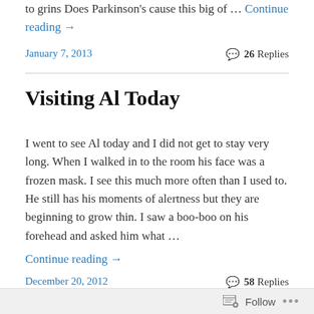to grins Does Parkinson's cause this big of … Continue reading →
January 7, 2013
💬 26 Replies
Visiting Al Today
I went to see Al today and I did not get to stay very long. When I walked in to the room his face was a frozen mask. I see this much more often than I used to. He still has his moments of alertness but they are beginning to grow thin. I saw a boo-boo on his forehead and asked him what …
Continue reading →
December 20, 2012
💬 58 Replies
Follow ...